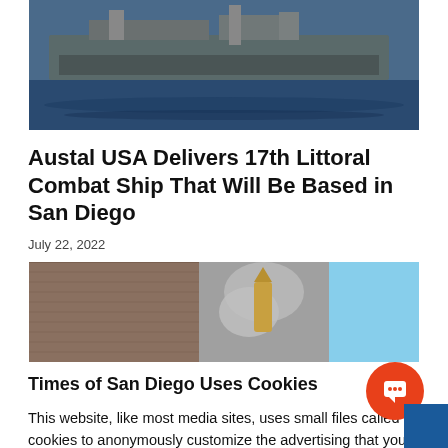[Figure (photo): Photo of a naval Littoral Combat Ship on blue water near a dock facility]
Austal USA Delivers 17th Littoral Combat Ship That Will Be Based in San Diego
July 22, 2022
[Figure (photo): Photo showing ship side with smoke/missile launch and clear blue sky]
Times of San Diego Uses Cookies
This website, like most media sites, uses small files called cookies to anonymously customize the advertising that you see. Learn more about how we use cookies in our cookie policy.